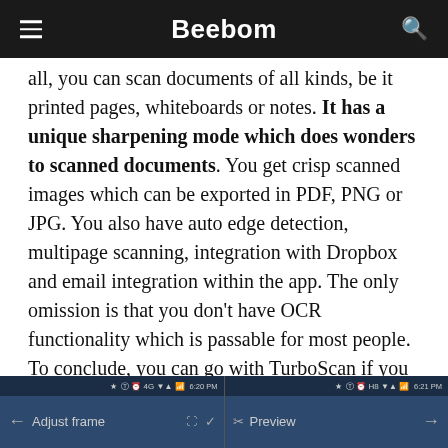Beebom
all, you can scan documents of all kinds, be it printed pages, whiteboards or notes. It has a unique sharpening mode which does wonders to scanned documents. You get crisp scanned images which can be exported in PDF, PNG or JPG. You also have auto edge detection, multipage scanning, integration with Dropbox and email integration within the app. The only omission is that you don't have OCR functionality which is passable for most people. To conclude, you can go with TurboScan if you want a simple app for scanning documents.
[Figure (screenshot): Two smartphone screenshots side by side showing TurboScan app screens: left screen shows 'Adjust frame' interface at 6:20 PM, right screen shows 'Preview' interface at 6:21 PM]